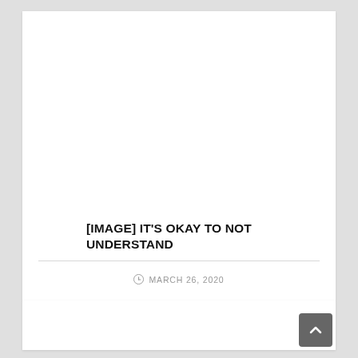[IMAGE] IT'S OKAY TO NOT UNDERSTAND
MARCH 26, 2020